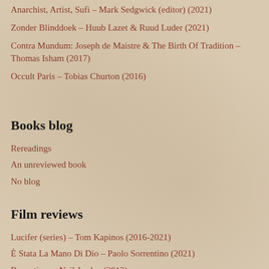Anarchist, Artist, Sufi – Mark Sedgwick (editor) (2021)
Zonder Blinddoek – Huub Lazet & Ruud Luder (2021)
Contra Mundum: Joseph de Maistre & The Birth Of Tradition – Thomas Isham (2017)
Occult Paris – Tobias Churton (2016)
Books blog
Rereadings
An unreviewed book
No blog
Film reviews
Lucifer (series) – Tom Kapinos (2016-2021)
È Stata La Mano Di Dio – Paolo Sorrentino (2021)
Byzantium – Neil Jordan (2012)